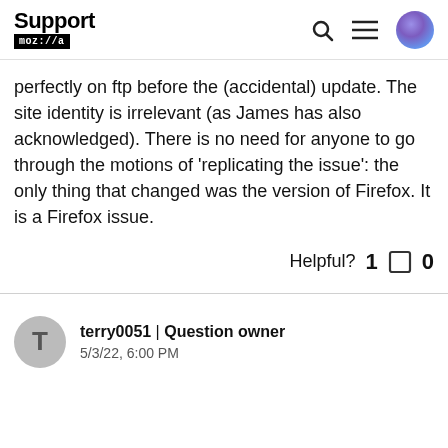Support moz://a
perfectly on ftp before the (accidental) update. The site identity is irrelevant (as James has also acknowledged). There is no need for anyone to go through the motions of 'replicating the issue': the only thing that changed was the version of Firefox. It is a Firefox issue.
Helpful? 1 0
terry0051 | Question owner
5/3/22, 6:00 PM